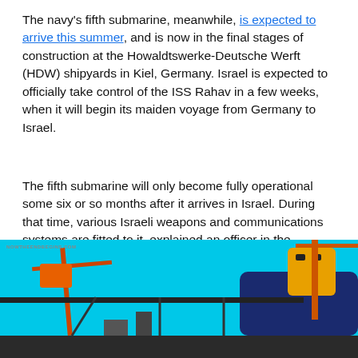The navy's fifth submarine, meanwhile, is expected to arrive this summer, and is now in the final stages of construction at the Howaldtswerke-Deutsche Werft (HDW) shipyards in Kiel, Germany. Israel is expected to officially take control of the ISS Rahav in a few weeks, when it will begin its maiden voyage from Germany to Israel.
The fifth submarine will only become fully operational some six or so months after it arrives in Israel. During that time, various Israeli weapons and communications systems are fitted to it, explained an officer in the submarine division.” The ISS Tanin (Crocodile) was initially handed over to Israel in May 2012.
[Figure (photo): Photograph of a submarine under construction at a shipyard, with cranes, equipment, and a bright blue sky in the background. A yellow conning tower is visible. Watermark reads NOWTHEENDBEGINS.COM.]